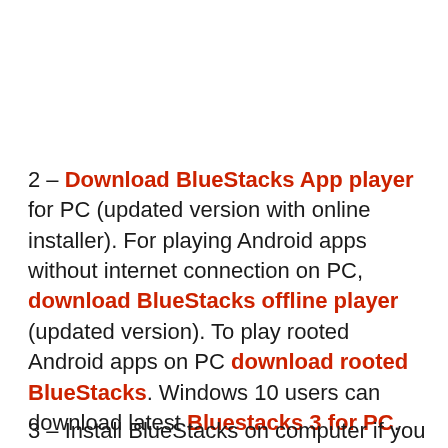2 – Download BlueStacks App player for PC (updated version with online installer). For playing Android apps without internet connection on PC, download BlueStacks offline player (updated version). To play rooted Android apps on PC download rooted BlueStacks. Windows 10 users can download latest Bluestacks 3 for PC.
3 – Install BlueStacks on computer if you